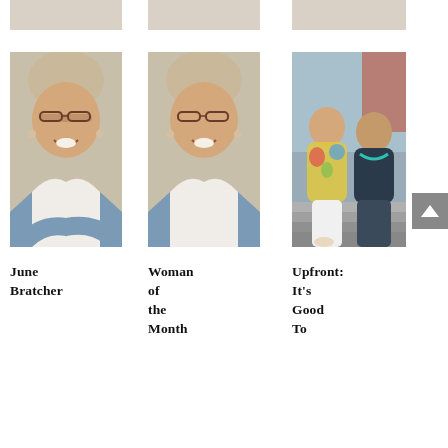[Figure (photo): Partial top strip of three images cropped at top of page]
[Figure (photo): Portrait photo of June Bratcher, elderly woman with short grey hair, glasses, wearing a denim jacket with arms crossed, smiling]
[Figure (photo): Portrait photo of woman (Woman of the Month), similar elderly woman with short grey hair, glasses, denim jacket, smiling]
[Figure (photo): Photo of two women sitting on steps outside a house; one in colorful blouse with white pants, one in dark top]
June Bratcher
Woman of the Month
Upfront: It's Good To